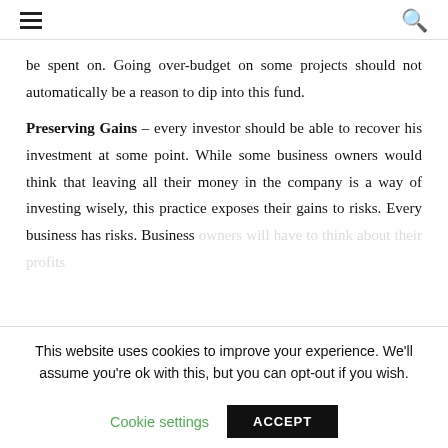≡  🔍
be spent on. Going over-budget on some projects should not automatically be a reason to dip into this fund.
Preserving Gains – every investor should be able to recover his investment at some point. While some business owners would think that leaving all their money in the company is a way of investing wisely, this practice exposes their gains to risks. Every business has risks. Business owners will have to think about their profits...
This website uses cookies to improve your experience. We'll assume you're ok with this, but you can opt-out if you wish.
Cookie settings   ACCEPT